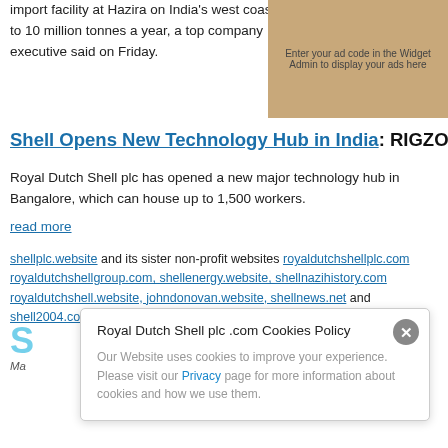import facility at Hazira on India's west coast to 10 million tonnes a year, a top company executive said on Friday.
[Figure (photo): Orange-colored image, possibly industrial/oil related, with ad placeholder text: Enter your ad code in the Widget Admin to display your ads here]
Shell Opens New Technology Hub in India: RIGZONE
Royal Dutch Shell plc has opened a new major technology hub in Bangalore, which can house up to 1,500 workers.
read more
shellplc.website and its sister non-profit websites royaldutchshellplc.com, royaldutchshellgroup.com, shellenergy.website, shellnazihistory.com, royaldutchshell.website, johndonovan.website, shellnews.net and shell2004.com are owned by John Donovan. There is also a Wikipedia f
SHELL AND BY LIQUIDATING THE RESOLVE
Ma...
Royal Dutch Shell plc .com Cookies Policy
Our Website uses cookies to improve your experience. Please visit our Privacy page for more information about cookies and how we use them.